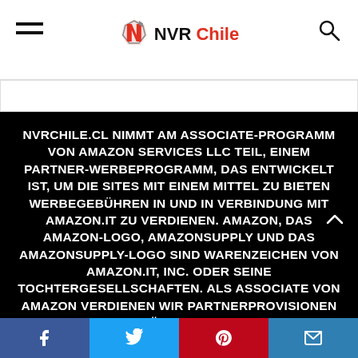NVR Chile
NVRCHILE.CL NIMMT AM ASSOCIATE-PROGRAMM VON AMAZON SERVICES LLC TEIL, EINEM PARTNER-WERBEPROGRAMM, DAS ENTWICKELT IST, UM DIE SITES MIT EINEM MITTEL ZU BIETEN WERBEGEBÜHREN IN UND IN VERBINDUNG MIT AMAZON.IT ZU VERDIENEN. AMAZON, DAS AMAZON-LOGO, AMAZONSUPPLY UND DAS AMAZONSUPPLY-LOGO SIND WARENZEICHEN VON AMAZON.IT, INC. ODER SEINE TOCHTERGESELLSCHAFTEN. ALS ASSOCIATE VON AMAZON VERDIENEN WIR PARTNERPROVISIONEN AUF BERECHTIGTE KÄUFE. DANKE, AMAZON, DASS SIE UNS HELFEN. UNSERE
Facebook Twitter Pinterest Email